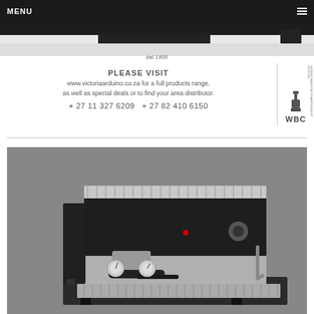MENU
dal 1905
PLEASE VISIT
www.victoriaarduino.co.za for a full products range, as well as special deals or to find your area distributor.
+ 27 11 327 6209   + 27 82 410 6150
[Figure (logo): WBC tamper logo with vertical text and WBC label]
[Figure (photo): Black espresso machine on grey background, showing professional single-group espresso machine with steam wand, dials and gauges]